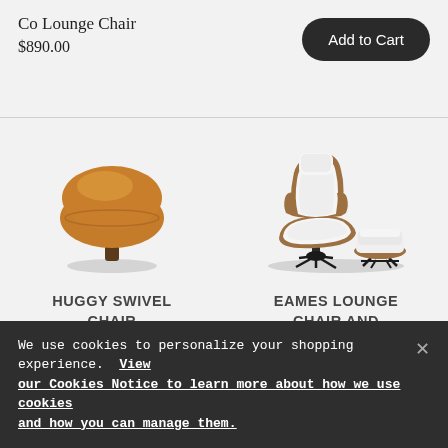Co Lounge Chair
$890.00
Add to Cart
[Figure (illustration): Round amber/caramel colored swivel chair with plush cushioning, photographed from front-slightly above angle on white/light background]
HUGGY SWIVEL CHAIR
[Figure (illustration): Eames-style lounge chair and ottoman with white leather cushioning and walnut wood shell on black star base, photographed from front-side angle on white background]
EAMES LOUNGE CHAIR AND OTTOMAN
We use cookies to personalize your shopping experience. View our Cookies Notice to learn more about how we use cookies and how you can manage them.